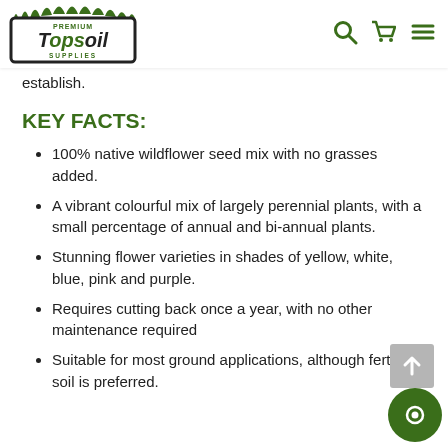Premium Topsoil Supplies — navigation header with logo, search, cart, and menu icons
establish.
KEY FACTS:
100% native wildflower seed mix with no grasses added.
A vibrant colourful mix of largely perennial plants, with a small percentage of annual and bi-annual plants.
Stunning flower varieties in shades of yellow, white, blue, pink and purple.
Requires cutting back once a year, with no other maintenance required
Suitable for most ground applications, although fertility soil is preferred.